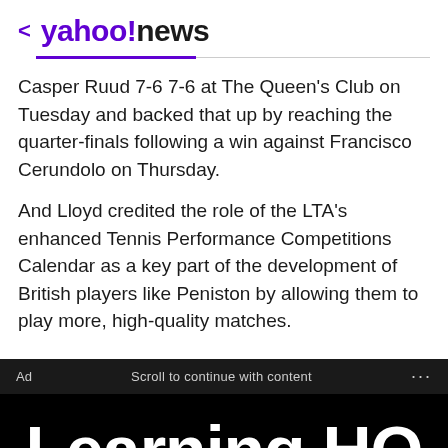< yahoo!news
Casper Ruud 7-6 7-6 at The Queen's Club on Tuesday and backed that up by reaching the quarter-finals following a win against Francisco Cerundolo on Thursday.
And Lloyd credited the role of the LTA's enhanced Tennis Performance Competitions Calendar as a key part of the development of British players like Peniston by allowing them to play more, high-quality matches.
Ad   Scroll to continue with content   ...
[Figure (screenshot): Black advertisement banner showing large white bold text 'Learning HQ' at top and 'Get started' text at bottom on black background]